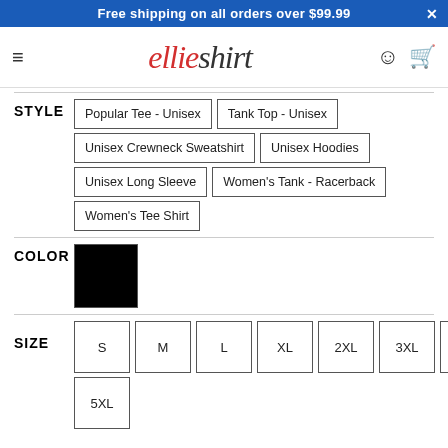Free shipping on all orders over $99.99
[Figure (logo): elliesshirt logo in red and black italic text with hamburger menu, person icon and cart icon]
STYLE
Popular Tee - Unisex
Tank Top - Unisex
Unisex Crewneck Sweatshirt
Unisex Hoodies
Unisex Long Sleeve
Women's Tank - Racerback
Women's Tee Shirt
COLOR
[Figure (other): Black color swatch square]
SIZE
S
M
L
XL
2XL
3XL
4XL
5XL